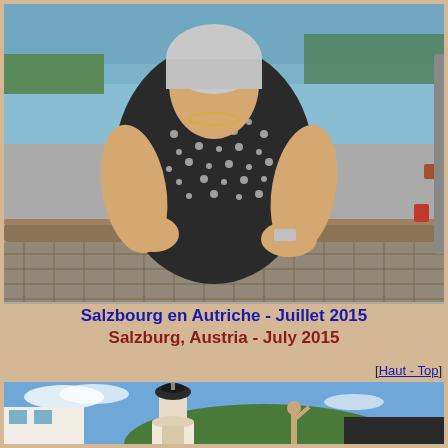[Figure (photo): Woman standing on a bridge with a river in the background, wearing a patterned black and white top, leaning on a railing]
Salzbourg en Autriche - Juillet 2015
Salzburg, Austria - July 2015
[Haut - Top]
[Figure (photo): Outdoor scene in Salzburg showing a Baroque church tower, buildings, and a blue sky with a person visible in the foreground]